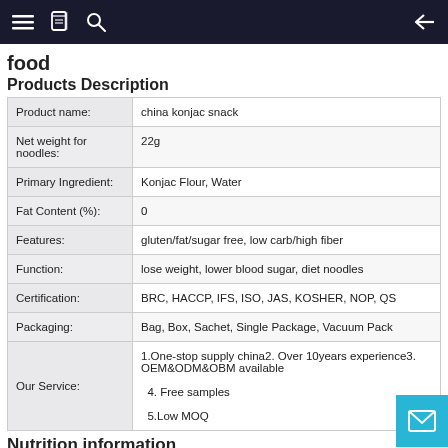food
Products Description
| Field | Value |
| --- | --- |
| Product name: | china konjac snack |
| Net weight for noodles: | 22g |
| Primary Ingredient: | Konjac Flour, Water |
| Fat Content (%): | 0 |
| Features: | gluten/fat/sugar free, low carb/high fiber |
| Function: | lose weight, lower blood sugar, diet noodles |
| Certification: | BRC, HACCP, IFS, ISO, JAS, KOSHER, NOP, QS |
| Packaging: | Bag, Box, Sachet, Single Package, Vacuum Pack |
| Our Service: | 1.One-stop supply china2. Over 10years experience3. OEM&ODM&OBM available
4. Free samples
5.Low MOQ |
Nutrition information